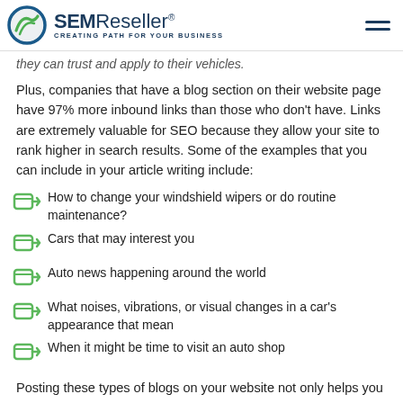SEMReseller - Creating Path For Your Business
they can trust and apply to their vehicles.
Plus, companies that have a blog section on their website page have 97% more inbound links than those who don't have. Links are extremely valuable for SEO because they allow your site to rank higher in search results. Some of the examples that you can include in your article writing include:
How to change your windshield wipers or do routine maintenance?
Cars that may interest you
Auto news happening around the world
What noises, vibrations, or visual changes in a car's appearance that mean
When it might be time to visit an auto shop
Posting these types of blogs on your website not only helps you to look authoritative and trustworthy, but they may also